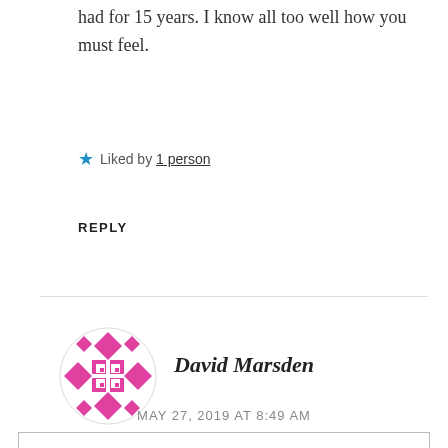had for 15 years. I know all too well how you must feel.
★ Liked by 1 person
REPLY
[Figure (illustration): Circular avatar with pink/magenta geometric diamond and square pattern on white background]
David Marsden
MAY 27, 2019 AT 8:49 AM
Privacy & Cookies: This site uses cookies. By continuing to use this website, you agree to their use.
To find out more, including how to control cookies, see here:
Wordpress.com Cookie Policy
Accept and Dismiss